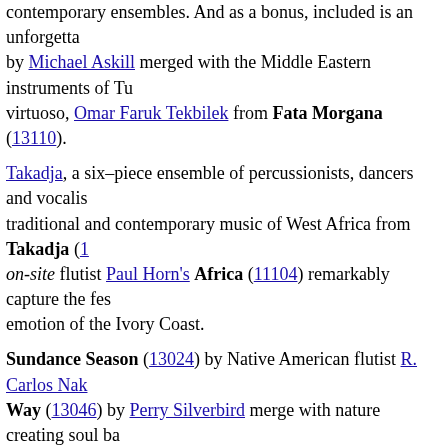contemporary ensembles. And as a bonus, included is an unforgettable by Michael Askill merged with the Middle Eastern instruments of Tu virtuoso, Omar Faruk Tekbilek from Fata Morgana (13110).
Takadja, a six–piece ensemble of percussionists, dancers and vocalis traditional and contemporary music of West Africa from Takadja (1 on-site flutist Paul Horn's Africa (11104) remarkably capture the fes emotion of the Ivory Coast.
Sundance Season (13024) by Native American flutist R. Carlos Nak Way (13046) by Perry Silverbird merge with nature creating soul ba
Fong Naam, a classical ensemble from Thailand specializing in tradi music, captivates listeners with a traditional piece of natural sounds Contemporary Music from Thailand (14098).
Pham Van Ty introduces a Vietnamese folk song from a rare collecti Music of Vietnam, Volume 1.2 (13083).
Mariachi Cobre offers the festive sounds of Mexico's traditional folk Mi Mariachi (11105).
Rafael Jimenez raises the heat and stirs the passions with a traditiona piece from ¡Cante Gitano! (13112).
tracklist